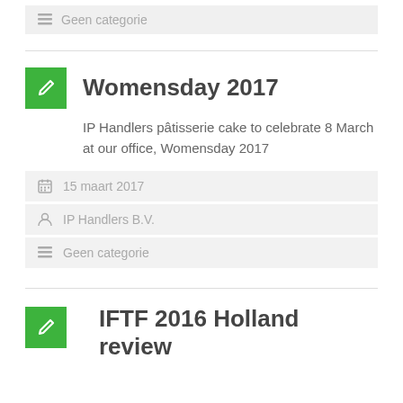Geen categorie
Womensday 2017
IP Handlers pâtisserie cake to celebrate 8 March at our office, Womensday 2017
15 maart 2017
IP Handlers B.V.
Geen categorie
IFTF 2016 Holland review